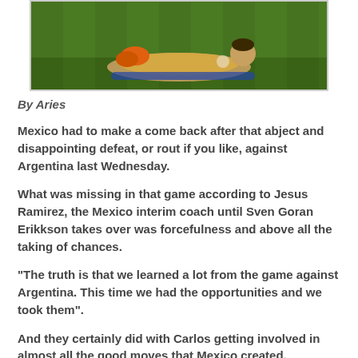[Figure (photo): Soccer/football player diving on grass field, wearing orange goalkeeper gloves]
By Aries
Mexico had to make a come back after that abject and disappointing defeat, or rout if you like, against Argentina last Wednesday.
What was missing in that game according to Jesus Ramirez, the Mexico interim coach until Sven Goran Erikkson takes over was forcefulness and above all the taking of chances.
"The truth is that we learned a lot from the game against Argentina. This time we had the opportunities and we took them".
And they certainly did with Carlos getting involved in almost all the good moves that Mexico created.